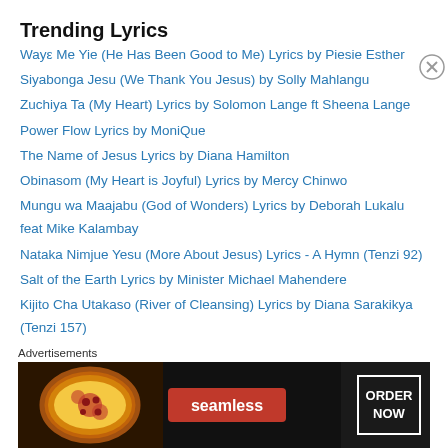Trending Lyrics
Wayε Me Yie (He Has Been Good to Me) Lyrics by Piesie Esther
Siyabonga Jesu (We Thank You Jesus) by Solly Mahlangu
Zuchiya Ta (My Heart) Lyrics by Solomon Lange ft Sheena Lange
Power Flow Lyrics by MoniQue
The Name of Jesus Lyrics by Diana Hamilton
Obinasom (My Heart is Joyful) Lyrics by Mercy Chinwo
Mungu wa Maajabu (God of Wonders) Lyrics by Deborah Lukalu feat Mike Kalambay
Nataka Nimjue Yesu (More About Jesus) Lyrics - A Hymn (Tenzi 92)
Salt of the Earth Lyrics by Minister Michael Mahendere
Kijito Cha Utakaso (River of Cleansing) Lyrics by Diana Sarakikya (Tenzi 157)
Advertisements
[Figure (screenshot): Seamless food delivery advertisement banner with pizza image and ORDER NOW button]